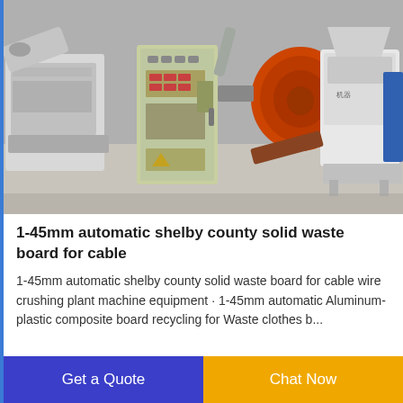[Figure (photo): Industrial machinery photo showing cable wire crushing plant equipment in a factory setting. Multiple machines including a gray control panel cabinet, orange/red cylindrical components, white shredder/crusher machine on the right, and conveyor equipment on the left.]
1-45mm automatic shelby county solid waste board for cable
1-45mm automatic shelby county solid waste board for cable wire crushing plant machine equipment · 1-45mm automatic Aluminum-plastic composite board recycling for Waste clothes b...